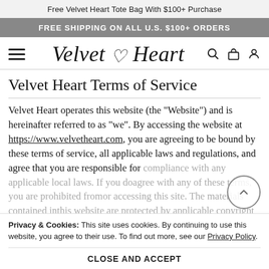Free Velvet Heart Tote Bag With $100+ Purchase
FREE SHIPPING ON ALL U.S. $100+ ORDERS
[Figure (logo): Velvet Heart script logo with heart symbol, hamburger menu icon, search icon, bag icon, and user icon navigation bar]
Velvet Heart Terms of Service
Velvet Heart operates this website (the "Website") and is hereinafter referred to as "we". By accessing the website at https://www.velvetheart.com, you are agreeing to be bound by these terms of service, all applicable laws and regulations, and agree that you are responsible for compliance with any applicable local laws. If you do agree with any of these terms, you are prohibited from or accessing this site. The materials contained in this website are protected by applicable copyright and trademark law.
Privacy & Cookies: This site uses cookies. By continuing to use this website, you agree to their use. To find out more, see our Privacy Policy.
CLOSE AND ACCEPT